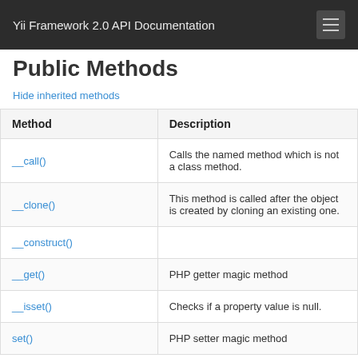Yii Framework 2.0 API Documentation
Public Methods
Hide inherited methods
| Method | Description |
| --- | --- |
| __call() | Calls the named method which is not a class method. |
| __clone() | This method is called after the object is created by cloning an existing one. |
| __construct() |  |
| __get() | PHP getter magic method |
| __isset() | Checks if a property value is null. |
| set() | PHP setter magic method |